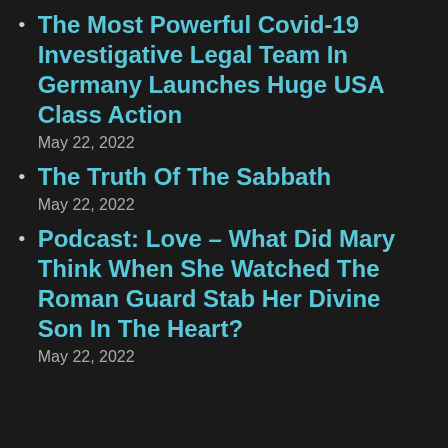The Most Powerful Covid-19 Investigative Legal Team In Germany Launches Huge USA Class Action
May 22, 2022
The Truth Of The Sabbath
May 22, 2022
Podcast: Love – What Did Mary Think When She Watched The Roman Guard Stab Her Divine Son In The Heart?
May 22, 2022
[Figure (other): Email subscription form with First name and Email fields and a SUBSCRIBE! button on an orange gradient background, with a close (X) button in the top right corner.]